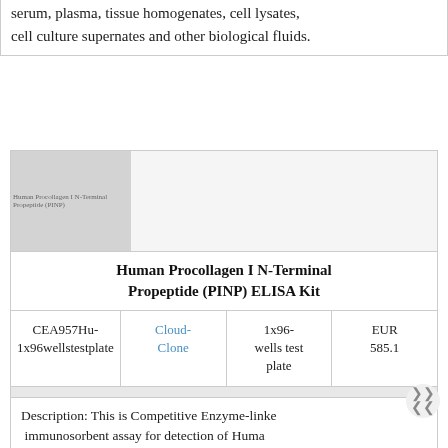serum, plasma, tissue homogenates, cell lysates, cell culture supernates and other biological fluids.
[Figure (photo): Product image placeholder for Human Procollagen I N-Terminal Propeptide (PINP) ELISA Kit, gray square with text label]
Human Procollagen I N-Terminal Propeptide (PINP) ELISA Kit
| Product Code | Brand | Size | Price |
| --- | --- | --- | --- |
| CEA957Hu-1x96wellstestplate | Cloud-Clone | 1x96-wells test plate | EUR 585.1 |
Description: This is Competitive Enzyme-linked immunosorbent assay for detection of Human Procollagen I N-Terminal Propeptide (PINP) in